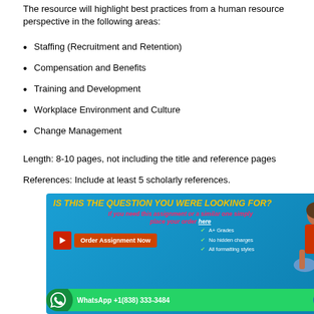The resource will highlight best practices from a human resource perspective in the following areas:
Staffing (Recruitment and Retention)
Compensation and Benefits
Training and Development
Workplace Environment and Culture
Change Management
Length:  8-10 pages, not including the title and reference pages
References:  Include at least 5 scholarly references.
[Figure (infographic): Advertisement banner with blue background. Title 'IS THIS THE QUESTION YOU WERE LOOKING FOR?' in yellow bold italic. Subtitle in red/pink italic 'If you need this assignment or a similar one simply place your order here'. Order Assignment Now button with play icon. Checkmarks listing A+ Grades, No hidden charges, All formatting styles. Girl sitting with book on right. WhatsApp +1(838) 333-3484 bar at bottom.]